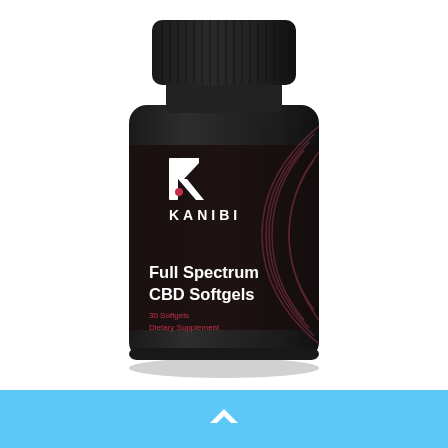[Figure (photo): A dark/black cylindrical supplement bottle with a black ribbed cap. The label shows the Kanibi logo (a stylized white K with a small red dot), the brand name KANIBI, decorative concentric arc lines on the right side of the label, and the product name 'Full Spectrum CBD Softgels' in white text, with '30 Softgels' and 'Dietary Supplement' in small red/pink text below.]
[Figure (other): A light blue horizontal footer bar with a white upward-pointing chevron/caret icon centered in it.]